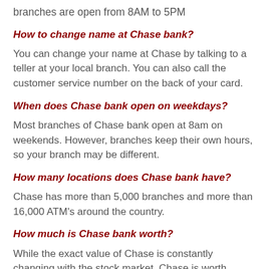branches are open from 8AM to 5PM
How to change name at Chase bank?
You can change your name at Chase by talking to a teller at your local branch. You can also call the customer service number on the back of your card.
When does Chase bank open on weekdays?
Most branches of Chase bank open at 8am on weekends. However, branches keep their own hours, so your branch may be different.
How many locations does Chase bank have?
Chase has more than 5,000 branches and more than 16,000 ATM's around the country.
How much is Chase bank worth?
While the exact value of Chase is constantly changing with the stock market, Chase is worth hundreds of